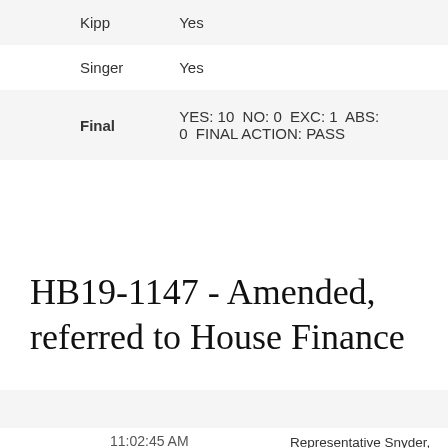| Name | Vote |
| --- | --- |
| Kipp | Yes |
| Singer | Yes |
| Final | YES: 10  NO: 0  EXC: 1  ABS: 0  FINAL ACTION: PASS |
HB19-1147 - Amended, referred to House Finance
11:02:45 AM
Representative Snyder, bill sponsor, presented House Bill 19-1147 to the committee. The